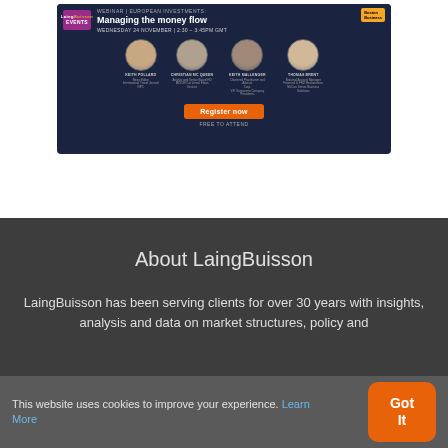[Figure (screenshot): LaingBuisson Events webinar banner: 'Managing the money flow', Wednesday 24 November, 2:30–3:45PM GMT. Shows four speaker headshots with names and roles. Orange 'Register now' button and 'FREE TO ATTEND' text.]
About LaingBuisson
LaingBuisson has been serving clients for over 30 years with insights, analysis and data on market structures, policy and
This website uses cookies to improve your experience. Learn More